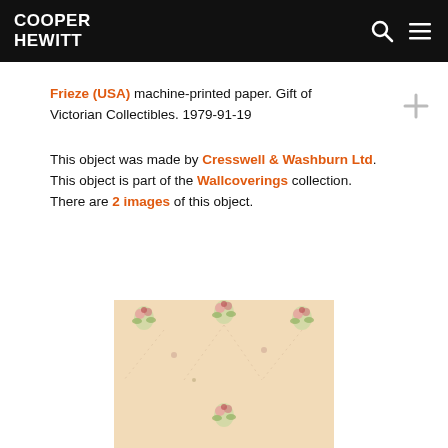COOPER HEWITT
Frieze (USA) machine-printed paper. Gift of Victorian Collectibles. 1979-91-19
This object was made by Cresswell & Washburn Ltd. This object is part of the Wallcoverings collection. There are 2 images of this object.
[Figure (photo): Photograph of a vintage wallpaper frieze with a floral pattern on a cream/peach background, showing small bouquets of pink and green flowers arranged in a repeating pattern.]